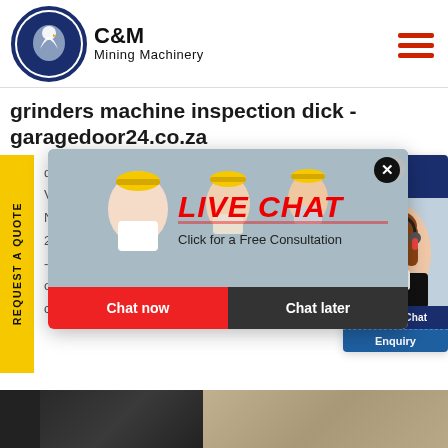[Figure (logo): C&M Mining Machinery logo with eagle in gear circle]
grinders machine inspection dick - garage door24.co.za
ders mc... Vertical... NCHARD... 2D, 42" V... ASSEMBLY AND INSPECTION The... off at F. P. Miller Company with... customer.
[Figure (screenshot): Live Chat popup overlay with workers in hard hats, LIVE CHAT heading in red italic, 'Click for a Free Consultation' subtitle, Chat now (red) and Chat later (dark) buttons]
[Figure (screenshot): Chat agent widget on right side showing Hours, Online status, female agent with headset, Click to Chat button, and Enquiry label]